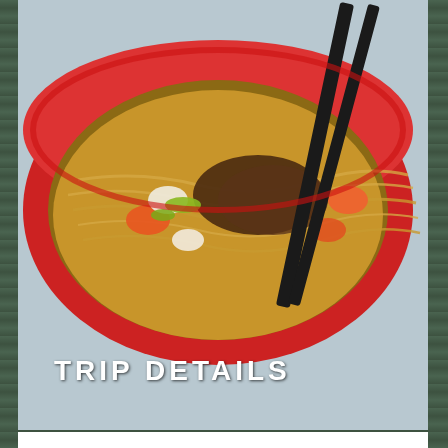[Figure (photo): A red bowl of noodles with chopsticks, colorful garnishes including carrots and green onions, with 'TRIP DETAILS' text overlaid in white bold letters on the lower portion of the image]
Trip Details
Price
Paradesa Borneo uses cookies to give you the best possible service. If you continue browsing, you agree to our use of cookies. More details can be found in our TERMS AND CONDITIONS.